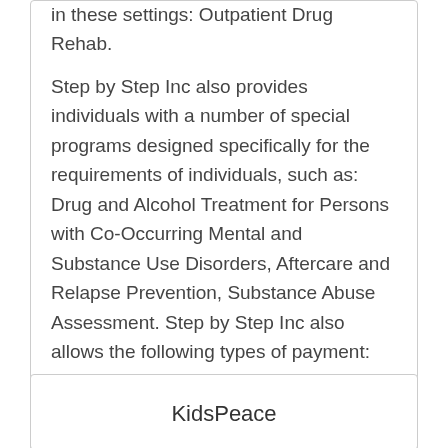in these settings: Outpatient Drug Rehab.
Step by Step Inc also provides individuals with a number of special programs designed specifically for the requirements of individuals, such as: Drug and Alcohol Treatment for Persons with Co-Occurring Mental and Substance Use Disorders, Aftercare and Relapse Prevention, Substance Abuse Assessment. Step by Step Inc also allows the following types of payment: Self-Payment or Cash Payment, Medicaid for Alcohol and Drug Treatment.
KidsPeace